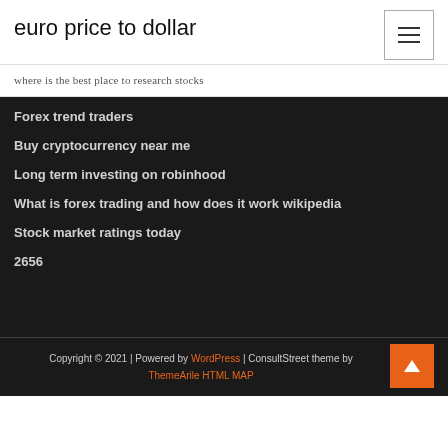euro price to dollar
where is the best place to research stocks
Forex trend traders
Buy cryptocurrency near me
Long term investing on robinhood
What is forex trading and how does it work wikipedia
Stock market ratings today
2656
Copyright © 2021 | Powered by WordPress | ConsultStreet theme by ThemeArile HTML MAP